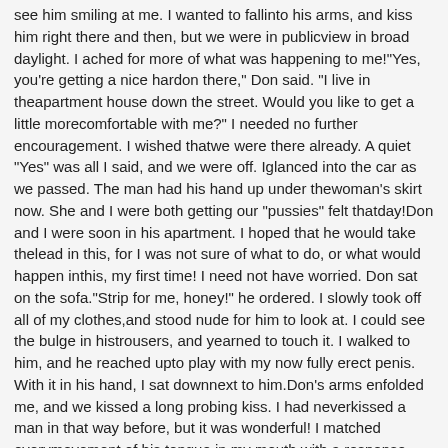see him smiling at me. I wanted to fallinto his arms, and kiss him right there and then, but we were in publicview in broad daylight. I ached for more of what was happening to me!"Yes, you're getting a nice hardon there," Don said. "I live in theapartment house down the street. Would you like to get a little morecomfortable with me?" I needed no further encouragement. I wished thatwe were there already. A quiet "Yes" was all I said, and we were off. Iglanced into the car as we passed. The man had his hand up under thewoman's skirt now. She and I were both getting our "pussies" felt thatday!Don and I were soon in his apartment. I hoped that he would take thelead in this, for I was not sure of what to do, or what would happen inthis, my first time! I need not have worried. Don sat on the sofa."Strip for me, honey!" he ordered. I slowly took off all of my clothes,and stood nude for him to look at. I could see the bulge in histrousers, and yearned to touch it. I walked to him, and he reached upto play with my now fully erect penis. With it in his hand, I sat downnext to him.Don's arms enfolded me, and we kissed a long probing kiss. I had neverkissed a man in that way before, but it was wonderful! I matched everymovement of his tongue in my mouth with a response from my own tongue.Then my left hand dropped to the lump in his pants. It felt huge! Muchbigger than my own penis, and I felt that I had to know what it waslike. "Mmmm!" Don murmured. "You're a hot one, honey! I like that. Comeon!"Don stood